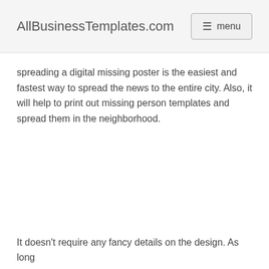AllBusinessTemplates.com  menu
spreading a digital missing poster is the easiest and fastest way to spread the news to the entire city. Also, it will help to print out missing person templates and spread them in the neighborhood.
It doesn't require any fancy details on the design. As long